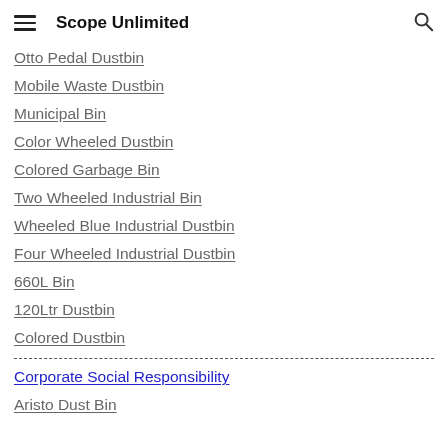Scope Unlimited
Otto Pedal Dustbin
Mobile Waste Dustbin
Municipal Bin
Color Wheeled Dustbin
Colored Garbage Bin
Two Wheeled Industrial Bin
Wheeled Blue Industrial Dustbin
Four Wheeled Industrial Dustbin
660L Bin
120Ltr Dustbin
Colored Dustbin
Corporate Social Responsibility
Aristo Dust Bin